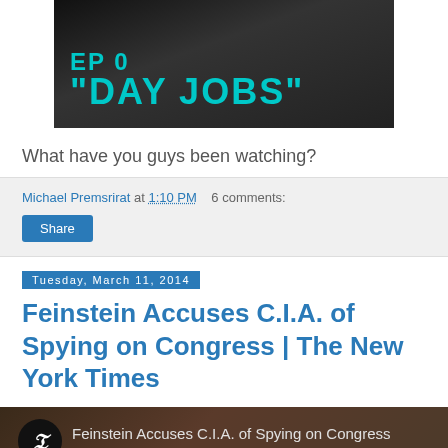[Figure (screenshot): Video thumbnail showing 'EP 0 DAY JOBS' text in teal/cyan on dark background]
What have you guys been watching?
Michael Premsrirat at 1:10 PM   6 comments:
Share
Tuesday, March 11, 2014
Feinstein Accuses C.I.A. of Spying on Congress | The New York Times
[Figure (screenshot): New York Times article preview image showing NYT logo circle and headline 'Feinstein Accuses C.I.A. of Spying on Congress' with photo]